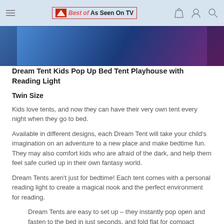Best of As Seen On TV
[Figure (photo): Partial product image showing a blue/purple background, top portion of a Dream Tent product photo]
Dream Tent Kids Pop Up Bed Tent Playhouse with Reading Light
Twin Size
Kids love tents, and now they can have their very own tent every night when they go to bed.
Available in different designs, each Dream Tent will take your child's imagination on an adventure to a new place and make bedtime fun. They may also comfort kids who are afraid of the dark, and help them feel safe curled up in their own fantasy world.
Dream Tents aren't just for bedtime! Each tent comes with a personal reading light to create a magical nook and the perfect environment for reading.
Dream Tents are easy to set up – they instantly pop open and fasten to the bed in just seconds, and fold flat for compact storage when not in use.